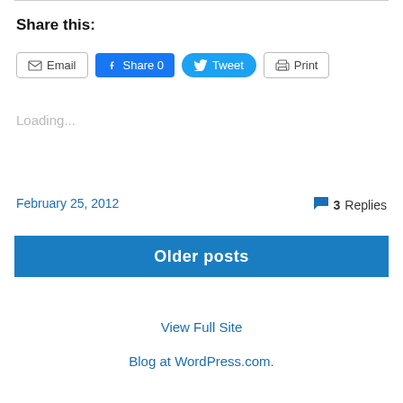Share this:
Email | Share 0 | Tweet | Print
Loading...
February 25, 2012
3 Replies
Older posts
View Full Site
Blog at WordPress.com.